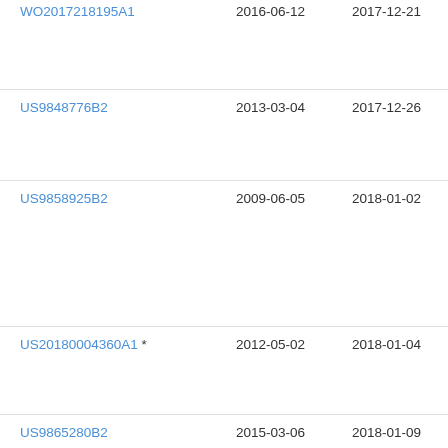| Patent Number | Filing Date | Publication Date | Assignee |
| --- | --- | --- | --- |
| WO2017218195A1 | 2016-06-12 | 2017-12-21 | App… |
| US9848776B2 | 2013-03-04 | 2017-12-26 | Hel… |
| US9858925B2 | 2009-06-05 | 2018-01-02 | App… |
| US20180004360A1 * | 2012-05-02 | 2018-01-04 | Sam… Ele… Ltd… |
| US9865280B2 | 2015-03-06 | 2018-01-09 | App… |
| US9870636B2 | 2012-02-12 | 2018-01-16 | Mo… |